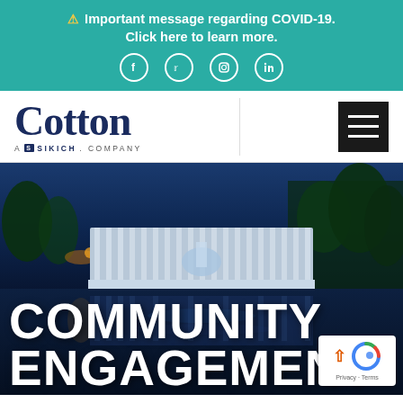⚠ Important message regarding COVID-19. Click here to learn more.
[Figure (logo): Cotton - A Sikich Company logo with hamburger menu button]
[Figure (photo): Night photo of the National World War II Memorial in Washington DC reflected in the pool, overlaid with large white text reading COMMUNITY ENGAGEMENT]
COMMUNITY ENGAGEMENT